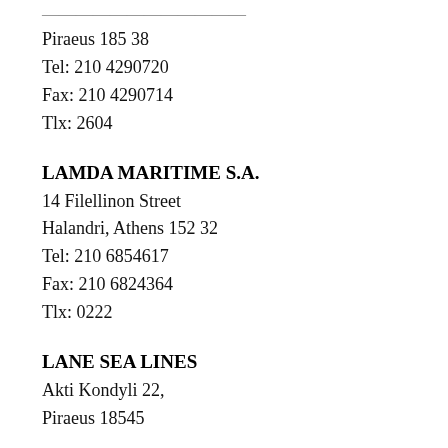Piraeus 185 38
Tel: 210 4290720
Fax: 210 4290714
Tlx: 2604
LAMDA MARITIME S.A.
14 Filellinon Street
Halandri, Athens 152 32
Tel: 210 6854617
Fax: 210 6824364
Tlx: 0222
LANE SEA LINES
Akti Kondyli 22,
Piraeus 18545